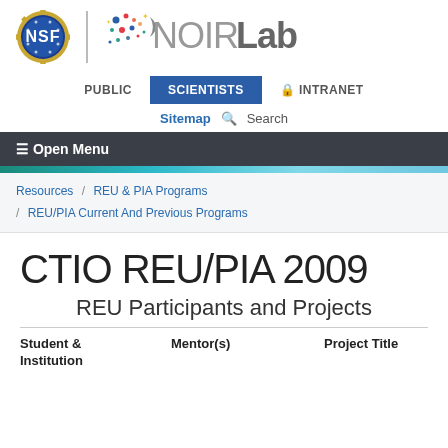[Figure (logo): NSF logo (blue circle with NSF text, gold gear border) and NOIRLab logo with colorful dot cluster icon, grey NOIR bold Lab text]
PUBLIC | SCIENTISTS | INTRANET
Sitemap  Search
≡ Open Menu
Resources / REU & PIA Programs / REU/PIA Current And Previous Programs
CTIO REU/PIA 2009
REU Participants and Projects
| Student & Institution | Mentor(s) | Project Title |
| --- | --- | --- |